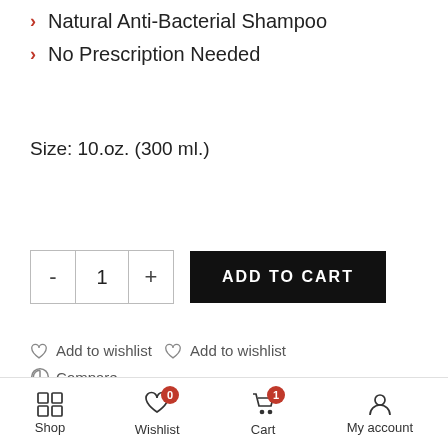Natural Anti-Bacterial Shampoo
No Prescription Needed
Size: 10.oz. (300 ml.)
- 1 + ADD TO CART
Add to wishlist  Add to wishlist
Compare
SKU: 69860882G427
Shop  Wishlist 0  Cart 1  My account